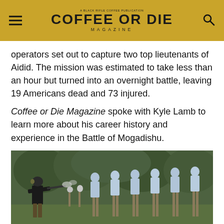COFFEE OR DIE MAGAZINE
operators set out to capture two top lieutenants of Aidid. The mission was estimated to take less than an hour but turned into an overnight battle, leaving 19 Americans dead and 73 injured.
Coffee or Die Magazine spoke with Kyle Lamb to learn more about his career history and experience in the Battle of Mogadishu.
[Figure (photo): A person in tactical gear and hearing protection shooting a rifle at a row of human silhouette targets on an outdoor shooting range, with green trees in the background.]